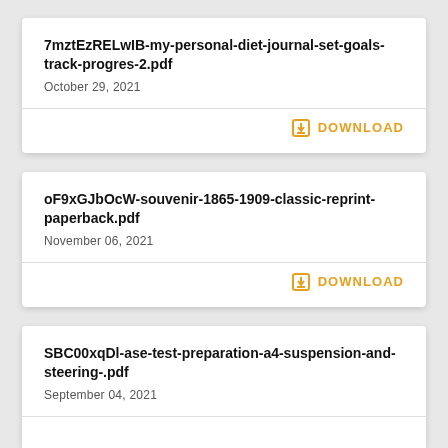7mztEzRELwIB-my-personal-diet-journal-set-goals-track-progres-2.pdf
October 29, 2021
DOWNLOAD
oF9xGJbOcW-souvenir-1865-1909-classic-reprint-paperback.pdf
November 06, 2021
DOWNLOAD
SBC00xqDl-ase-test-preparation-a4-suspension-and-steering-.pdf
September 04, 2021